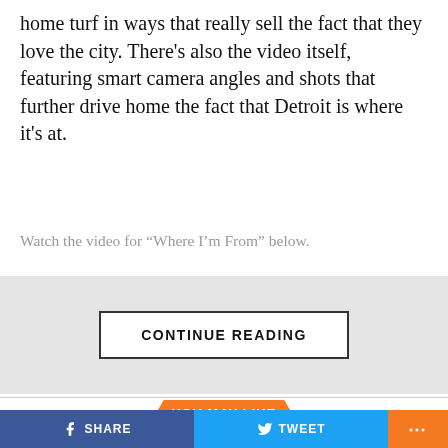home turf in ways that really sell the fact that they love the city. There's also the video itself, featuring smart camera angles and shots that further drive home the fact that Detroit is where it's at.
Watch the video for “Where I’m From” below.
[Figure (other): Continue Reading button inside a gray box]
YOU MAY LIKE
[Figure (photo): Photo of YN Jay and Louie Ray]
YN Jay & Louie Ray Are Back With “The Fawk Up”
[Figure (photo): Photo for Rio Da Yung OG article]
Rio Da Yung OG, RMC Mike, AllStar JR,
SHARE   TWEET